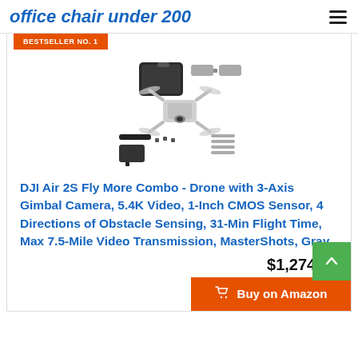office chair under 200
BESTSELLER NO. 1
[Figure (photo): DJI Air 2S Fly More Combo drone kit product photo showing drone, carrying case, batteries, cables and accessories laid out flat]
DJI Air 2S Fly More Combo - Drone with 3-Axis Gimbal Camera, 5.4K Video, 1-Inch CMOS Sensor, 4 Directions of Obstacle Sensing, 31-Min Flight Time, Max 7.5-Mile Video Transmission, MasterShots, Gray
$1,274.00
Buy on Amazon